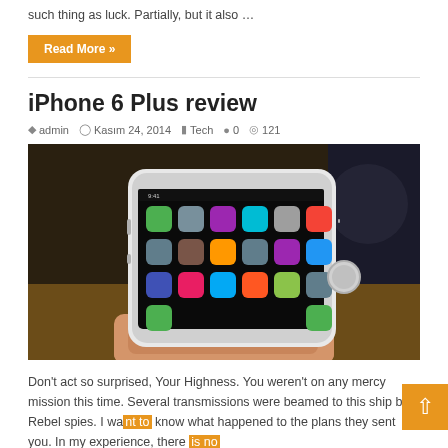such thing as luck. Partially, but it also …
Read More »
iPhone 6 Plus review
admin   Kasım 24, 2014   Tech   0   121
[Figure (photo): Hand holding an iPhone 6 Plus showing the home screen with various app icons]
Don't act so surprised, Your Highness. You weren't on any mercy mission this time. Several transmissions were beamed to this ship by Rebel spies. I want to know what happened to the plans they sent you. In my experience, there is no